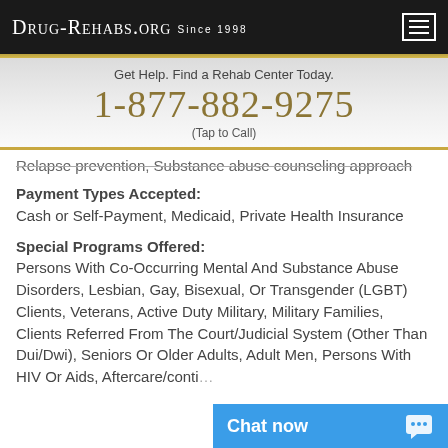Drug-Rehabs.org Since 1998
Get Help. Find a Rehab Center Today.
1-877-882-9275
(Tap to Call)
Relapse prevention, Substance abuse counseling approach
Payment Types Accepted: Cash or Self-Payment, Medicaid, Private Health Insurance
Special Programs Offered: Persons With Co-Occurring Mental And Substance Abuse Disorders, Lesbian, Gay, Bisexual, Or Transgender (LGBT) Clients, Veterans, Active Duty Military, Military Families, Clients Referred From The Court/Judicial System (Other Than Dui/Dwi), Seniors Or Older Adults, Adult Men, Persons With HIV Or Aids, Aftercare/conti... substance abuse co...